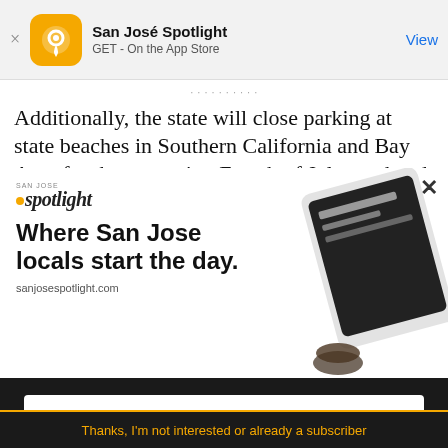[Figure (screenshot): App store banner for San José Spotlight with orange logo, app name, 'GET - On the App Store' text, and a 'View' link button]
Additionally, the state will close parking at state beaches in Southern California and Bay Area for the upcoming Fourth of July weekend. The state
[Figure (infographic): San José Spotlight advertisement overlay showing logo, headline 'Where San Jose locals start the day.' and sanjosespotlight.com URL with a tablet device image on the right]
EMAIL ADDRESS
SUBSCRIBE
Thanks, I'm not interested or already a subscriber